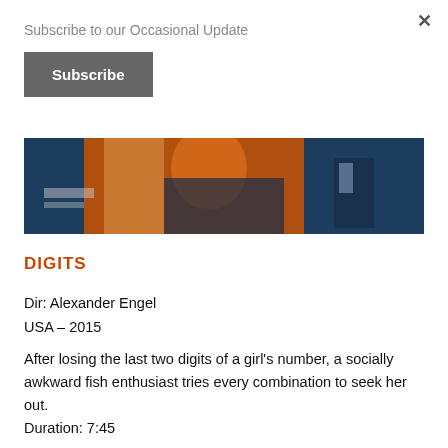Subscribe to our Occasional Update
Subscribe
[Figure (photo): Photo strip showing a child in an orange jacket sitting on a bed, with a dark blue background and items on a table]
DIGITS
Dir: Alexander Engel
USA – 2015
After losing the last two digits of a girl's number, a socially awkward fish enthusiast tries every combination to seek her out.
Duration: 7:45